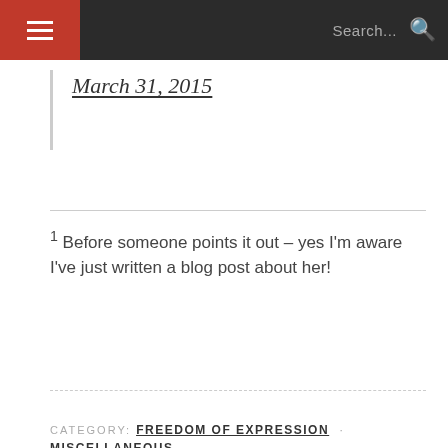Search...
March 31, 2015
1 Before someone points it out – yes I'm aware I've just written a blog post about her!
CATEGORY: FREEDOM OF EXPRESSION · MISCELLANEOUS